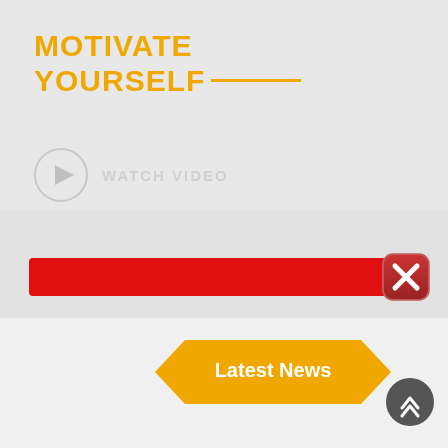MOTIVATE YOURSELF
WATCH VIDEO
[Figure (screenshot): Red horizontal bar with red X close button on right side]
UPDATES
[Figure (screenshot): Latest News banner in golden/amber color with angled sides]
[Figure (screenshot): Scroll to top dark circular button with double up chevron]